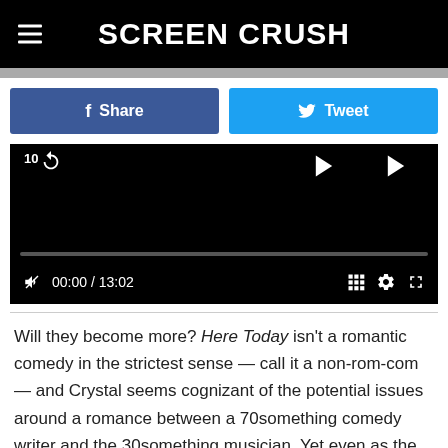SCREEN CRUSH
[Figure (screenshot): Social share buttons: Facebook Share (blue) and Twitter Tweet (light blue)]
[Figure (screenshot): Video player (black) showing time 00:00 / 13:02 with playback controls and progress bar]
Will they become more? Here Today isn't a romantic comedy in the strictest sense — call it a non-rom-com — and Crystal seems cognizant of the potential issues around a romance between a 70something comedy writer and the 30something musician. Yet even as the characters remain platonic friends, others keep bringing up the issue. Whenever they're asked if they're boyfriend and girlfriend, Charlie and Emma never